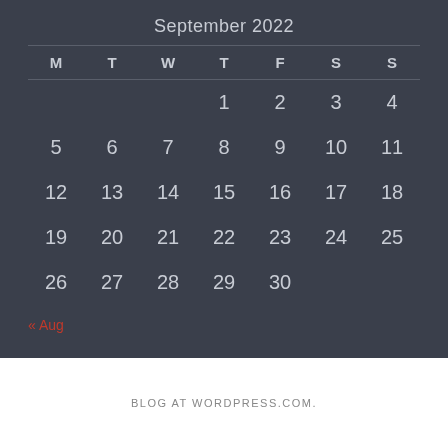September 2022
| M | T | W | T | F | S | S |
| --- | --- | --- | --- | --- | --- | --- |
|  |  |  | 1 | 2 | 3 | 4 |
| 5 | 6 | 7 | 8 | 9 | 10 | 11 |
| 12 | 13 | 14 | 15 | 16 | 17 | 18 |
| 19 | 20 | 21 | 22 | 23 | 24 | 25 |
| 26 | 27 | 28 | 29 | 30 |  |  |
« Aug
BLOG AT WORDPRESS.COM.